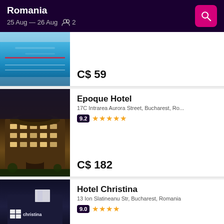Romania
25 Aug — 26 Aug  2
[Figure (photo): Indoor swimming pool with blue water and lane dividers]
C$ 59
Epoque Hotel
17C Intrarea Aurora Street, Bucharest, Ro...
9.2  ★★★★★
C$ 182
Hotel Christina
13 Ion Slatineanu Str, Bucharest, Romania
9.0  ★★★★